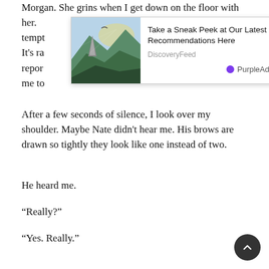Morgan. She grins when I get down on the floor with her. tempt... acks. It's ra... repor... wants me to...
[Figure (screenshot): Ad overlay with mountain landscape image. Title: 'Take a Sneak Peek at Our Latest Recommendations Here'. Source: DiscoveryFeed. Branding: PurpleAds. Close button (×) in top right.]
After a few seconds of silence, I look over my shoulder. Maybe Nate didn't hear me. His brows are drawn so tightly they look like one instead of two.
He heard me.
“Really?”
“Yes. Really.”
Nate nods once. “So are you giving me your notice?”
I turn back to Morgan, pivoting her the other way so she doesn’t get frustrated with her head hitting the sofa since her crawl doesn’t involve a reverse mode yet. “I don’t know. I don’t wa... move. But ...”
“Is it his job?”